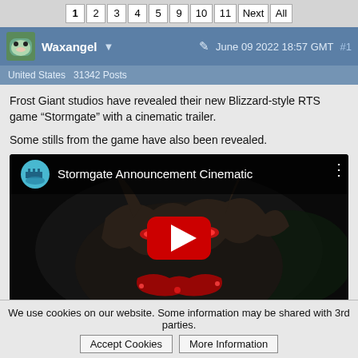1 2 3 4 5 9 10 11 Next All
Waxangel ▾  June 09 2022 18:57 GMT  #1
United States  31342 Posts
Frost Giant studios have revealed their new Blizzard-style RTS game "Stormgate" with a cinematic trailer.

Some stills from the game have also been revealed.
[Figure (screenshot): YouTube embed showing 'Stormgate Announcement Cinematic' video with a dark fantasy monster creature in the thumbnail and a red YouTube play button in the center]
We use cookies on our website. Some information may be shared with 3rd parties.  Accept Cookies  More Information